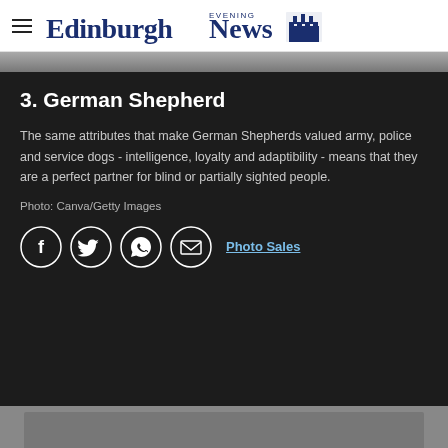Edinburgh Evening News
[Figure (photo): Partial image strip at top, dark grayscale]
3. German Shepherd
The same attributes that make German Shepherds valued army, police and service dogs - intelligence, loyalty and adaptibility - means that they are a perfect partner for blind or partially sighted people.
Photo: Canva/Getty Images
[Figure (infographic): Social sharing icons: Facebook, Twitter, WhatsApp, Email circles, and Photo Sales link]
[Figure (photo): Bottom partial image strip, gray]